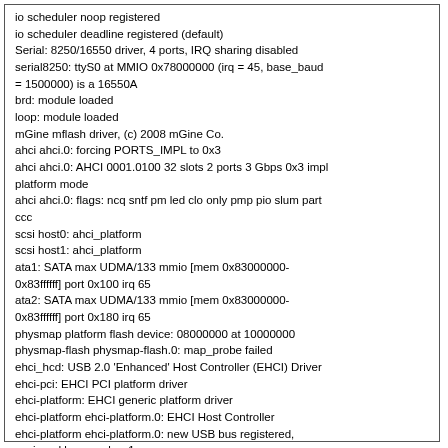io scheduler noop registered
io scheduler deadline registered (default)
Serial: 8250/16550 driver, 4 ports, IRQ sharing disabled
serial8250: ttyS0 at MMIO 0x78000000 (irq = 45, base_baud = 1500000) is a 16550A
brd: module loaded
loop: module loaded
mGine mflash driver, (c) 2008 mGine Co.
ahci ahci.0: forcing PORTS_IMPL to 0x3
ahci ahci.0: AHCI 0001.0100 32 slots 2 ports 3 Gbps 0x3 impl platform mode
ahci ahci.0: flags: ncq sntf pm led clo only pmp pio slum part ccc
scsi host0: ahci_platform
scsi host1: ahci_platform
ata1: SATA max UDMA/133 mmio [mem 0x83000000-0x83ffffff] port 0x100 irq 65
ata2: SATA max UDMA/133 mmio [mem 0x83000000-0x83ffffff] port 0x180 irq 65
physmap platform flash device: 08000000 at 10000000
physmap-flash physmap-flash.0: map_probe failed
ehci_hcd: USB 2.0 'Enhanced' Host Controller (EHCI) Driver
ehci-pci: EHCI PCI platform driver
ehci-platform: EHCI generic platform driver
ehci-platform ehci-platform.0: EHCI Host Controller
ehci-platform ehci-platform.0: new USB bus registered, assigned bus number 1
ehci-platform ehci-platform.0: irq 64, io mem 0x82000000
ehci-platform ehci-platform.0: USB 2.0 started, EHCI 1.00
hub 1-0:1.0: USB hub found